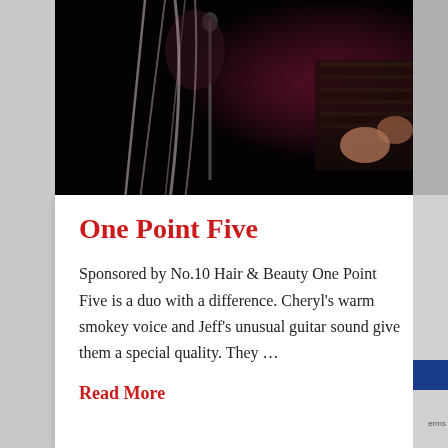[Figure (photo): Dark concert photo showing a musician playing guitar with microphone stands visible, purple/red stage lighting, dark background.]
One Point Five
Sponsored by No.10 Hair & Beauty One Point Five is a duo with a difference. Cheryl's warm smokey voice and Jeff's unusual guitar sound give them a special quality. They …
Read More